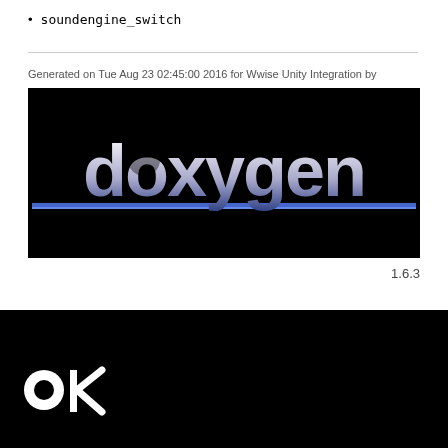soundengine_switch
Generated on Tue Aug 23 02:45:00 2016 for Wwise Unity Integration by
[Figure (logo): Doxygen logo — white stylized text 'doxygen' on black background with blue horizontal line accent]
1.6.3
[Figure (logo): Audiokinetic 'ak' logo in white on black background — bottom footer area]